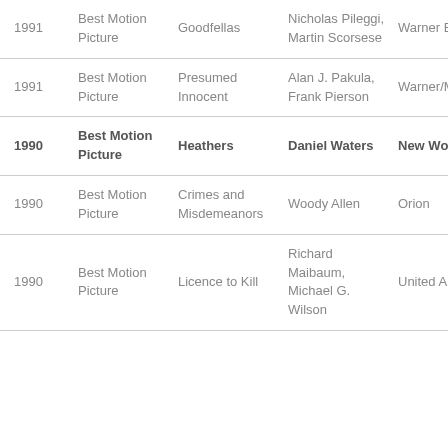| Year | Category | Film | Writer(s) | Studio |
| --- | --- | --- | --- | --- |
| 1991 | Best Motion Picture | Goodfellas | Nicholas Pileggi, Martin Scorsese | Warner Bros. |
| 1991 | Best Motion Picture | Presumed Innocent | Alan J. Pakula, Frank Pierson | Warner/Mirage |
| 1990 | Best Motion Picture | Heathers | Daniel Waters | New World |
| 1990 | Best Motion Picture | Crimes and Misdemeanors | Woody Allen | Orion |
| 1990 | Best Motion Picture | Licence to Kill | Richard Maibaum, Michael G. Wilson | United Artists |